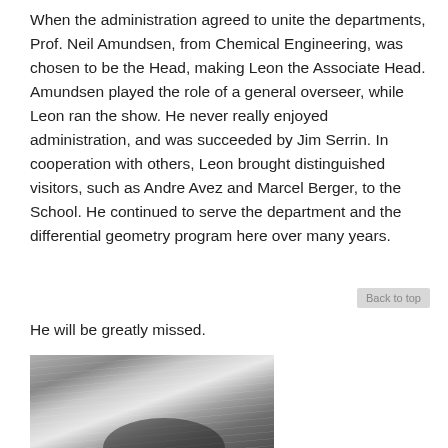When the administration agreed to unite the departments, Prof. Neil Amundsen, from Chemical Engineering, was chosen to be the Head, making Leon the Associate Head. Amundsen played the role of a general overseer, while Leon ran the show. He never really enjoyed administration, and was succeeded by Jim Serrin. In cooperation with others, Leon brought distinguished visitors, such as Andre Avez and Marcel Berger, to the School. He continued to serve the department and the differential geometry program here over many years.
Back to top
He will be greatly missed.
[Figure (photo): Black and white photograph showing the top of an elderly person's head with white hair, viewed from slightly above.]